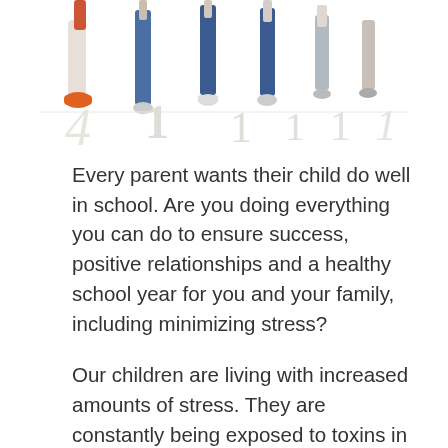[Figure (photo): Partial view of children/people from waist or legs down, standing in a row against a white background. Colorful clothing visible — jeans, orange shoes, white sneakers.]
Every parent wants their child do well in school. Are you doing everything you can do to ensure success, positive relationships and a healthy school year for you and your family, including minimizing stress?
Our children are living with increased amounts of stress. They are constantly being exposed to toxins in their foods, increased levels of pressure to perform well on exams, fears of being bullied and constant exposure to technology that we know can have serious implications on mental states and sleep patterns. Each of these increased stressors in our children's lives can set them up not only for